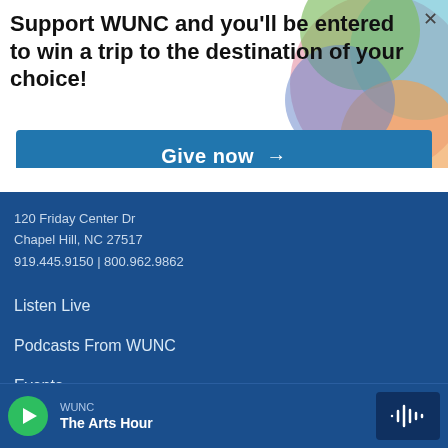[Figure (illustration): Colorful circular geometric design background with segments in green, blue, pink, orange, teal on white banner area]
Support WUNC and you'll be entered to win a trip to the destination of your choice!
Give now →
120 Friday Center Dr
Chapel Hill, NC 27517
919.445.9150 | 800.962.9862
Listen Live
Podcasts From WUNC
Events
About
WUNC
The Arts Hour